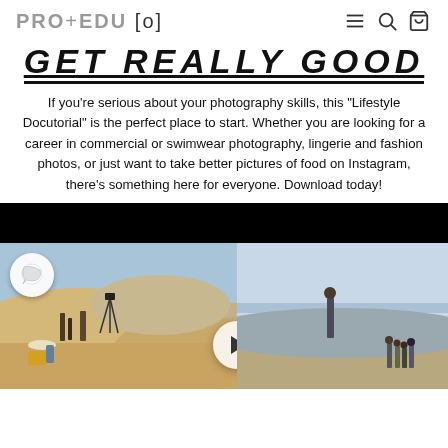PRO+EDU[o]
GET REALLY GOOD
If you're serious about your photography skills, this "Lifestyle Docutorial" is the perfect place to start. Whether you are looking for a career in commercial or swimwear photography, lingerie and fashion photos, or just want to take better pictures of food on Instagram, there's something here for everyone. Download today!
[Figure (photo): Two-panel photo strip: left panel shows a beach photoshoot scene with crew on sand dunes, right panel shows a figure silhouetted on a beach/desert landscape. Chat bubble icon top-left of left panel, play button in center of strip.]